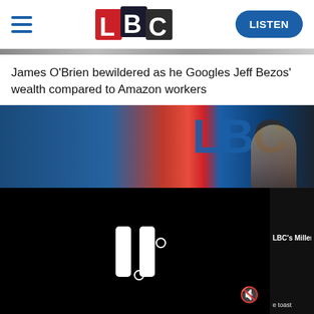[Figure (logo): LBC logo with hamburger menu icon on left and LISTEN button on right]
[Figure (photo): Cropped photo strip of people in a studio setting]
James O'Brien bewildered as he Googles Jeff Bezos' wealth compared to Amazon workers
[Figure (photo): LBC studio photo showing LBC signage in red and blue with a person visible]
[Figure (screenshot): Video player showing paused state with pause icon and mute icon, black background. Right side shows LBC's Millenn... text partial]
James O'Brien's...